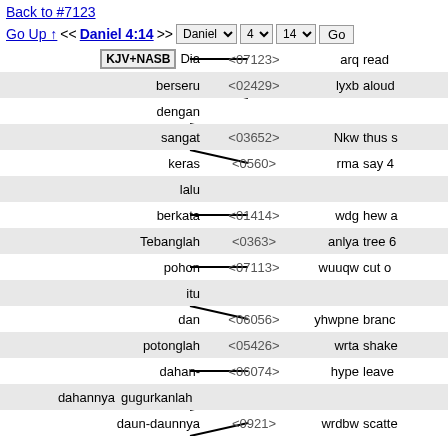Back to #7123
Go Up ↑ << Daniel 4:14 >> Daniel 4 14 Go
| Indonesian | Strong's | Transliteration | English |
| --- | --- | --- | --- |
| Dia | <07123> | arq | read |
| berseru | <02429> | lyxb | aloud |
| dengan |  |  |  |
| sangat | <03652> | Nkw | thus |
| keras | <0560> | rma | say 4 |
| lalu |  |  |  |
| berkata | <01414> | wdg | hew |
| Tebanglah | <0363> | anlya | tree 6 |
| pohon | <07113> | wuuqw | cut o |
| itu |  |  |  |
| dan | <06056> | yhwpne | branc |
| potonglah | <05426> | wrta | shake |
| dahan-dahannya | <06074> | hype | leave |
| gugurkanlah |  |  |  |
| daun-daunnya | <0921> | wrdbw | scatte |
| dan |  |  |  |
| hamburkanlah | <04> | hbna | fruit |
| buah-buahnya | <05111> | dnt | get a |
| Biarlah |  |  |  |
| binatang-binatang | <02423> | atwyx | beast |
| berlari | <04481> | Nm | of 31 |
| dari |  |  |  |
| bawahnya | <08479> | yhwtxt | unde |
| dan | <06853> |  | of |